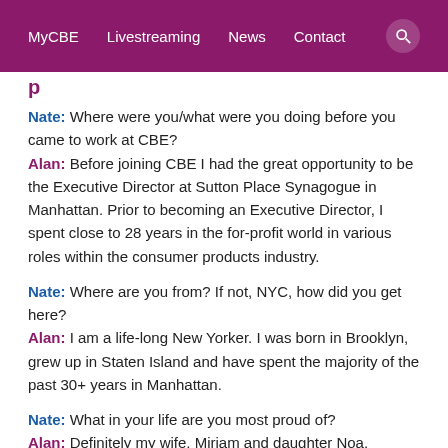MyCBE   Livestreaming   News   Contact
Nate: Where were you/what were you doing before you came to work at CBE?
Alan: Before joining CBE I had the great opportunity to be the Executive Director at Sutton Place Synagogue in Manhattan. Prior to becoming an Executive Director, I spent close to 28 years in the for-profit world in various roles within the consumer products industry.
Nate: Where are you from? If not, NYC, how did you get here?
Alan: I am a life-long New Yorker. I was born in Brooklyn, grew up in Staten Island and have spent the majority of the past 30+ years in Manhattan.
Nate: What in your life are you most proud of?
Alan: Definitely my wife, Miriam and daughter Noa. Hearing